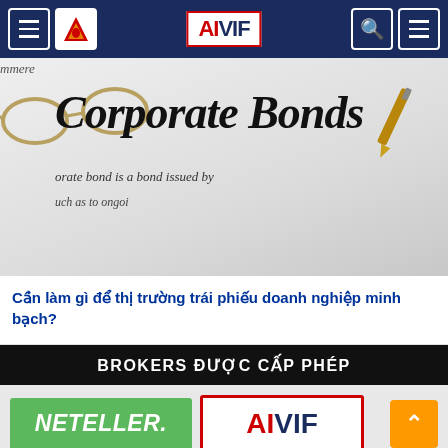AIVIF navigation header
[Figure (photo): Close-up photo of a document titled 'Corporate Bonds' with text 'a bond is a bond issued by...' and 'such as to ongo...' visible, with glasses and a pen resting on the paper.]
Cần làm gì để thị trường trái phiếu doanh nghiệp minh bạch?
BROKERS ĐƯỢC CẤP PHÉP
[Figure (logo): NETELLER logo in green background and AIVIF logo with red border, side by side in the footer area.]